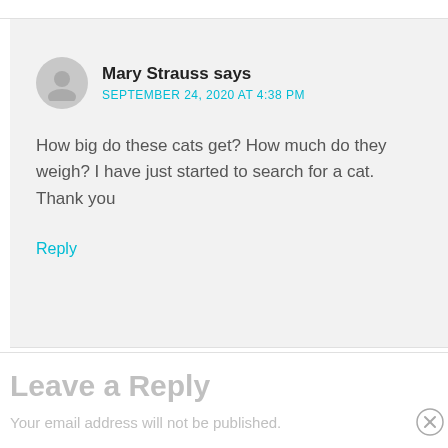Mary Strauss says
SEPTEMBER 24, 2020 AT 4:38 PM
How big do these cats get? How much do they weigh? I have just started to search for a cat. Thank you
Reply
Leave a Reply
Your email address will not be published.